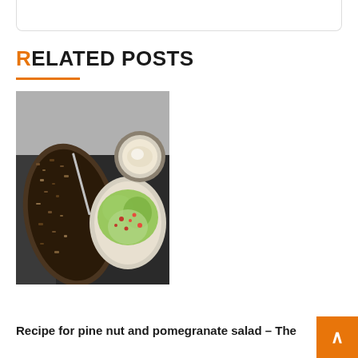RELATED POSTS
[Figure (photo): Overhead food photo showing a bowl of dark grain/lentil dish, a small bowl with creamy dressing, and a frisée salad with pomegranate seeds, arranged on a dark cloth.]
Recipe for pine nut and pomegranate salad – The